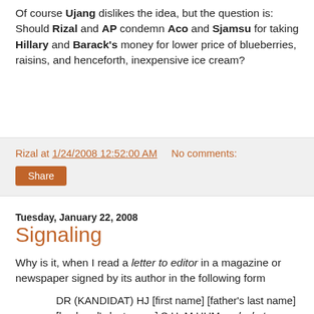Of course Ujang dislikes the idea, but the question is: Should Rizal and AP condemn Aco and Sjamsu for taking Hillary and Barack's money for lower price of blueberries, raisins, and henceforth, inexpensive ice cream?
Rizal at 1/24/2008 12:52:00 AM   No comments:
Share
Tuesday, January 22, 2008
Signaling
Why is it, when I read a letter to editor in a magazine or newspaper signed by its author in the following form
DR (KANDIDAT) HJ [first name] [father's last name] [husband's last name] S.H. M.HUM , advokat
I immediately remember Spence? Or, wait, is it Baby Bop? (BB: Look at me me me // I'm three three three // I'm as